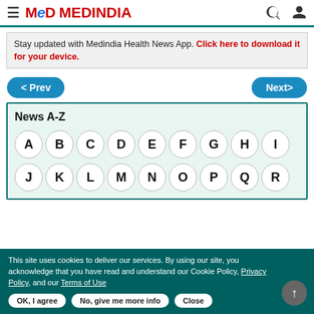MEDINDIA
Stay updated with Medindia Health News App. Click here to download it for your device.
< Prev    Next>
News A-Z
A B C D E F G H I
J K L M N O P Q R
This site uses cookies to deliver our services. By using our site, you acknowledge that you have read and understand our Cookie Policy, Privacy Policy, and our Terms of Use
OK, I agree   No, give me more info   Close